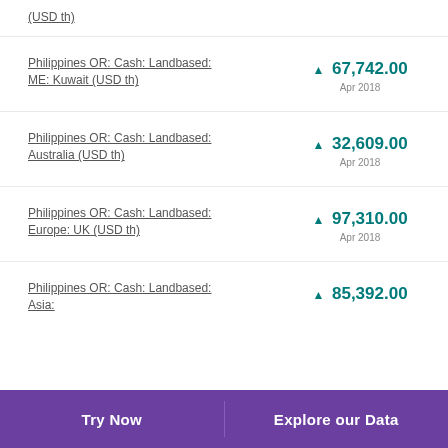(USD th)
Philippines OR: Cash: Landbased: ME: Kuwait (USD th)
Philippines OR: Cash: Landbased: Australia (USD th)
Philippines OR: Cash: Landbased: Europe: UK (USD th)
Philippines OR: Cash: Landbased: Asia:
Try Now    Explore our Data